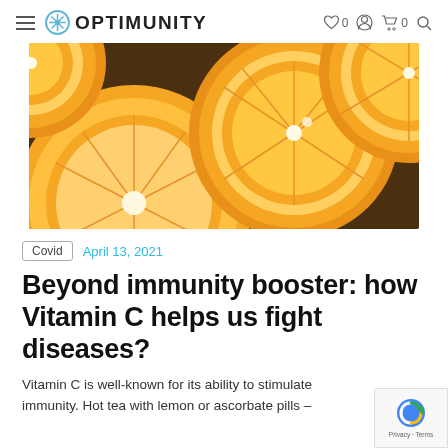OPTIMUNITY
[Figure (photo): Close-up photo of sliced oranges showing the cross-section with orange flesh and white pith against a dark background.]
Covid  April 13, 2021
Beyond immunity booster: how Vitamin C helps us fight diseases?
Vitamin C is well-known for its ability to stimulate immunity. Hot tea with lemon or ascorbate pills –